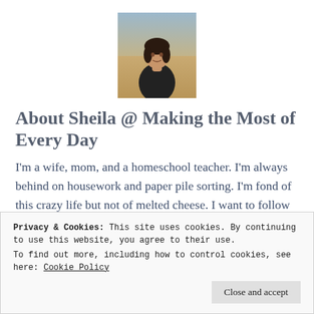[Figure (photo): Profile photo of Sheila, a woman with dark hair, wearing a dark top, with a sandy/beach background.]
About Sheila @ Making the Most of Every Day
I'm a wife, mom, and a homeschool teacher. I'm always behind on housework and paper pile sorting. I'm fond of this crazy life but not of melted cheese. I want to follow hard after God, making each day really count. I like to run, read, cook (and eat!). Thanks for joining along on
Privacy & Cookies: This site uses cookies. By continuing to use this website, you agree to their use.
To find out more, including how to control cookies, see here: Cookie Policy
Close and accept